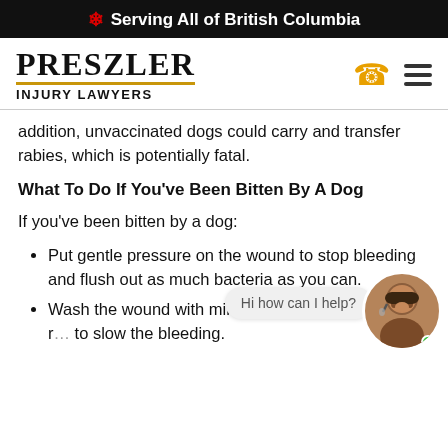🍁 Serving All of British Columbia
[Figure (logo): Preszler Injury Lawyers logo with gold underline, phone icon and hamburger menu icon]
addition, unvaccinated dogs could carry and transfer rabies, which is potentially fatal.
What To Do If You've Been Bitten By A Dog
If you've been bitten by a dog:
Put gentle pressure on the wound to stop bleeding and flush out as much bacteria as you can.
Wash the wound with mild soap a… water, placin… r… to slow the bleeding.
[Figure (photo): Chat widget with woman wearing headset and 'Hi how can I help?' speech bubble]